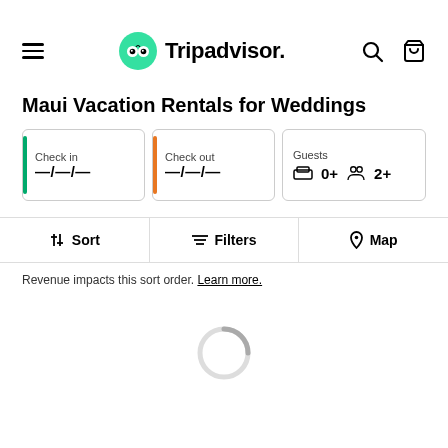[Figure (logo): Tripadvisor logo with green owl icon and hamburger menu, search and cart icons in navigation bar]
Maui Vacation Rentals for Weddings
Check in —/—/—
Check out —/—/—
Guests 0+ 2+
Sort  Filters  Map
Revenue impacts this sort order. Learn more.
[Figure (screenshot): Loading spinner (partial circle)]